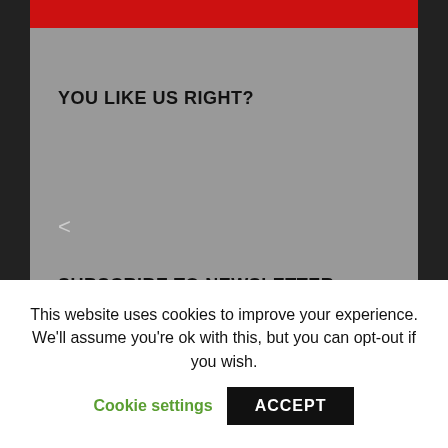[Figure (illustration): Red decorative banner at top of content area]
YOU LIKE US RIGHT?
<
SUBSCRIBE TO NEWSLETTER
Sign up for the SWTORStrategies Daily newsletter:
This website uses cookies to improve your experience. We'll assume you're ok with this, but you can opt-out if you wish.
Cookie settings
ACCEPT